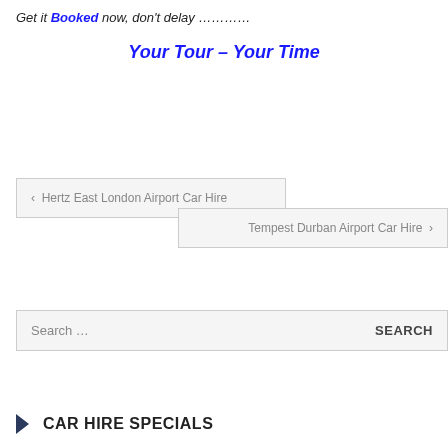Get it Booked now, don't delay …………
Your Tour – Your Time
‹ Hertz East London Airport Car Hire
Tempest Durban Airport Car Hire ›
Search … SEARCH
CAR HIRE SPECIALS